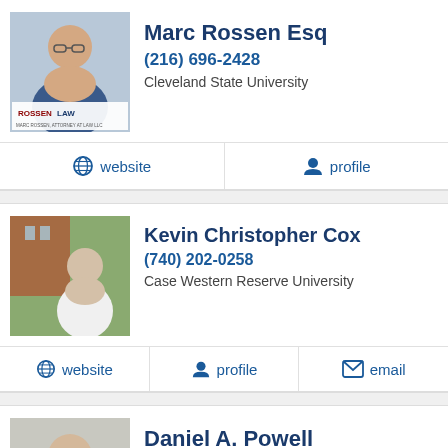[Figure (photo): Profile photo of Marc Rossen Esq with RossenLaw logo]
Marc Rossen Esq
(216) 696-2428
Cleveland State University
website
profile
[Figure (photo): Profile photo of Kevin Christopher Cox outdoors near brick building]
Kevin Christopher Cox
(740) 202-0258
Case Western Reserve University
website
profile
email
[Figure (photo): Profile photo of Daniel A. Powell in suit]
Daniel A. Powell
(216) 373-7706
website
profile
email